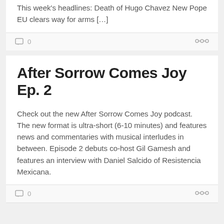This week's headlines: Death of Hugo Chavez New Pope EU clears way for arms […]
0
After Sorrow Comes Joy Ep. 2
Check out the new After Sorrow Comes Joy podcast. The new format is ultra-short (6-10 minutes) and features news and commentaries with musical interludes in between. Episode 2 debuts co-host Gil Gamesh and features an interview with Daniel Salcido of Resistencia Mexicana.
0